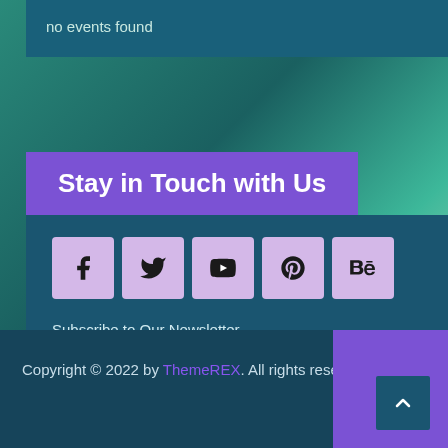no events found
Stay in Touch with Us
[Figure (other): Social media icons: Facebook, Twitter, YouTube, Pinterest, Behance]
Subscribe to Our Newsletter
Your Email
SUBMIT
Copyright © 2022 by ThemeREX. All rights reserved.